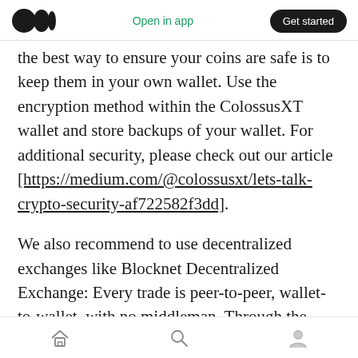Medium logo | Open in app | Get started
the best way to ensure your coins are safe is to keep them in your own wallet. Use the encryption method within the ColossusXT wallet and store backups of your wallet. For additional security, please check out our article [https://medium.com/@colossusxt/lets-talk-crypto-security-af722582f3dd].
We also recommend to use decentralized exchanges like Blocknet Decentralized Exchange: Every trade is peer-to-peer, wallet-to-wallet, with no middleman. Through the power of Atomic Swaps, you never have to trust a third party:
Home | Search | Profile